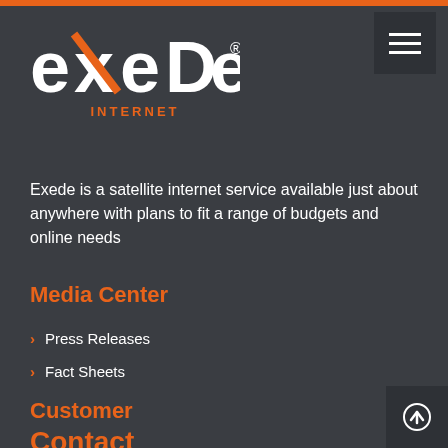[Figure (logo): Exede Internet logo — white stylized text 'exede' with orange accent, orange 'INTERNET' subtitle]
Exede is a satellite internet service available just about anywhere with plans to fit a range of budgets and online needs
Media Center
Press Releases
Fact Sheets
Customer
Contact Customer Support
Contact